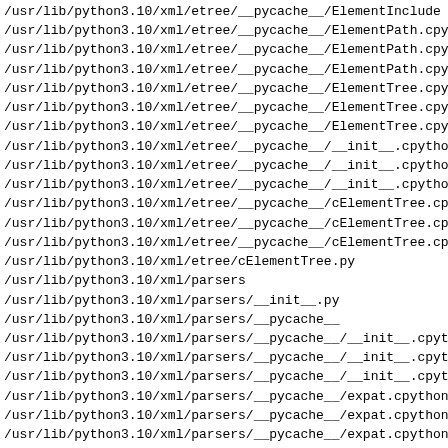/usr/lib/python3.10/xml/etree/__pycache__/ElementInclude...
/usr/lib/python3.10/xml/etree/__pycache__/ElementPath.cpy...
/usr/lib/python3.10/xml/etree/__pycache__/ElementPath.cpy...
/usr/lib/python3.10/xml/etree/__pycache__/ElementPath.cpy...
/usr/lib/python3.10/xml/etree/__pycache__/ElementTree.cpy...
/usr/lib/python3.10/xml/etree/__pycache__/ElementTree.cpy...
/usr/lib/python3.10/xml/etree/__pycache__/ElementTree.cpy...
/usr/lib/python3.10/xml/etree/__pycache__/__init__.cpytho...
/usr/lib/python3.10/xml/etree/__pycache__/__init__.cpytho...
/usr/lib/python3.10/xml/etree/__pycache__/__init__.cpytho...
/usr/lib/python3.10/xml/etree/__pycache__/cElementTree.cp...
/usr/lib/python3.10/xml/etree/__pycache__/cElementTree.cp...
/usr/lib/python3.10/xml/etree/__pycache__/cElementTree.cp...
/usr/lib/python3.10/xml/etree/cElementTree.py
/usr/lib/python3.10/xml/parsers
/usr/lib/python3.10/xml/parsers/__init__.py
/usr/lib/python3.10/xml/parsers/__pycache__
/usr/lib/python3.10/xml/parsers/__pycache__/__init__.cpyt...
/usr/lib/python3.10/xml/parsers/__pycache__/__init__.cpyt...
/usr/lib/python3.10/xml/parsers/__pycache__/__init__.cpyt...
/usr/lib/python3.10/xml/parsers/__pycache__/expat.cpython...
/usr/lib/python3.10/xml/parsers/__pycache__/expat.cpython...
/usr/lib/python3.10/xml/parsers/__pycache__/expat.cpython...
/usr/lib/python3.10/xml/parsers/expat.py
/usr/lib/python3.10/xml/sax
/usr/lib/python3.10/xml/sax/__init__.py
/usr/lib/python3.10/xml/sax/__pycache__
/usr/lib/python3.10/xml/sax/__pycache__/__init__.cpython-...
/usr/lib/python3.10/xml/sax/__pycache__/__init__.cpython-...
/usr/lib/python3.10/xml/sax/__pycache__/__init__.cpython...